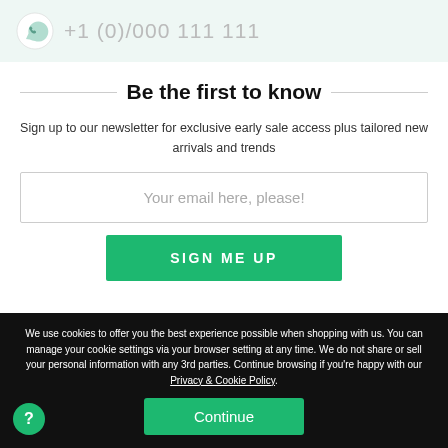[Figure (logo): WhatsApp-style speech bubble icon and partial phone number in light green banner at top]
Be the first to know
Sign up to our newsletter for exclusive early sale access plus tailored new arrivals and trends
Your email here, please!
SIGN ME UP
We use cookies to offer you the best experience possible when shopping with us. You can manage your cookie settings via your browser setting at any time. We do not share or sell your personal information with any 3rd parties. Continue browsing if you're happy with our Privacy & Cookie Policy.
Continue